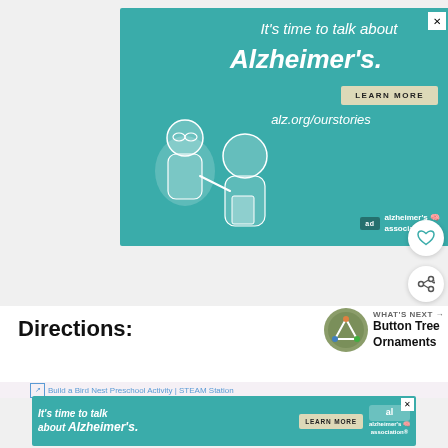[Figure (illustration): Alzheimer's Association advertisement banner with teal background. Shows two illustrated elderly figures (one pointing at the other). Text reads: 'It's time to talk about Alzheimer's.' with 'LEARN MORE' button and 'alz.org/ourstories' URL. Alzheimer's Association logo at bottom right with 'ad' badge.]
Directions:
WHAT'S NEXT → Button Tree Ornaments
[Figure (illustration): Bottom Alzheimer's Association advertisement banner with teal background. Text reads: 'It's time to talk about Alzheimer's.' with 'LEARN MORE' button and Alzheimer's Association logo.]